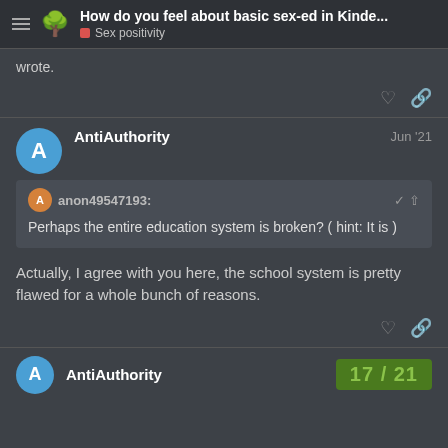How do you feel about basic sex-ed in Kinde... | Sex positivity
wrote.
AntiAuthority  Jun '21
anon49547193: Perhaps the entire education system is broken? ( hint: It is )
Actually, I agree with you here, the school system is pretty flawed for a whole bunch of reasons.
AntiAuthority  17 / 21